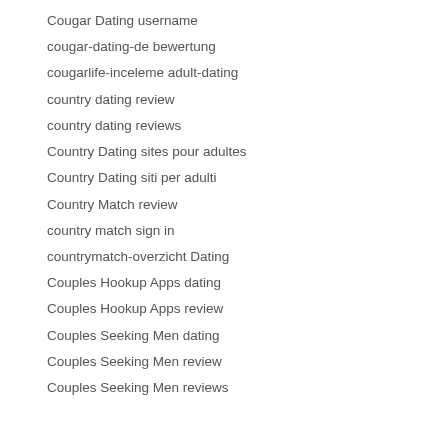Cougar Dating username
cougar-dating-de bewertung
cougarlife-inceleme adult-dating
country dating review
country dating reviews
Country Dating sites pour adultes
Country Dating siti per adulti
Country Match review
country match sign in
countrymatch-overzicht Dating
Couples Hookup Apps dating
Couples Hookup Apps review
Couples Seeking Men dating
Couples Seeking Men review
Couples Seeking Men reviews